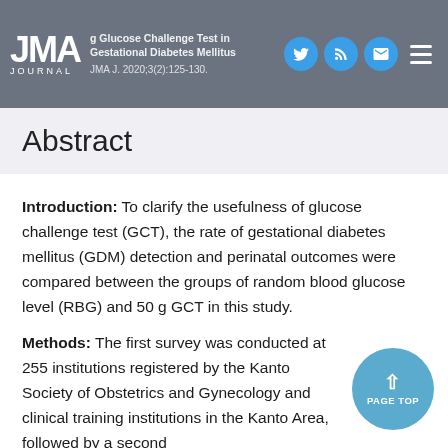g Glucose Challenge Test in Gestational Diabetes Mellitus ... JMA J. 2020;3(2):125-130.
Abstract
Introduction: To clarify the usefulness of glucose challenge test (GCT), the rate of gestational diabetes mellitus (GDM) detection and perinatal outcomes were compared between the groups of random blood glucose level (RBG) and 50 g GCT in this study.
Methods: The first survey was conducted at 255 institutions registered by the Kanto Society of Obstetrics and Gynecology and clinical training institutions in the Kanto Area, followed by a second